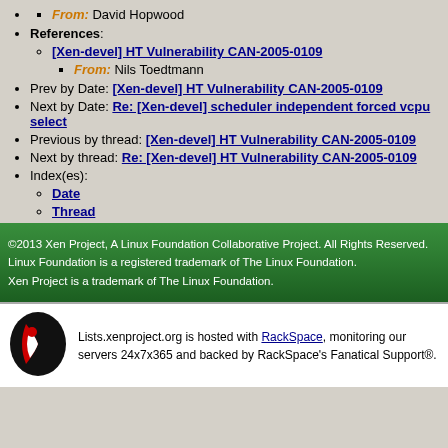From: David Hopwood
References:
[Xen-devel] HT Vulnerability CAN-2005-0109
From: Nils Toedtmann
Prev by Date: [Xen-devel] HT Vulnerability CAN-2005-0109
Next by Date: Re: [Xen-devel] scheduler independent forced vcpu select
Previous by thread: [Xen-devel] HT Vulnerability CAN-2005-0109
Next by thread: Re: [Xen-devel] HT Vulnerability CAN-2005-0109
Index(es):
Date
Thread
©2013 Xen Project, A Linux Foundation Collaborative Project. All Rights Reserved. Linux Foundation is a registered trademark of The Linux Foundation. Xen Project is a trademark of The Linux Foundation.
Lists.xenproject.org is hosted with RackSpace, monitoring our servers 24x7x365 and backed by RackSpace's Fanatical Support®.